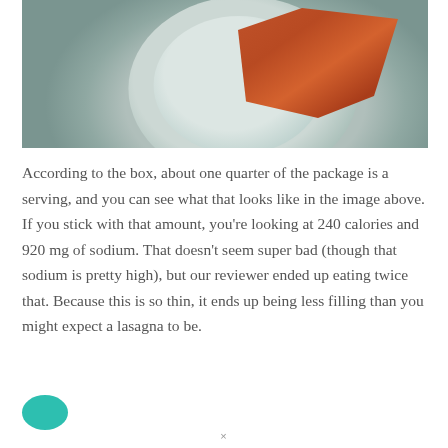[Figure (photo): A piece of lasagna on a gray/teal ceramic plate, placed on a woven white/cream placemat background. The lasagna slice is triangular, with a reddish-brown tomato sauce topping.]
According to the box, about one quarter of the package is a serving, and you can see what that looks like in the image above. If you stick with that amount, you're looking at 240 calories and 920 mg of sodium. That doesn't seem super bad (though that sodium is pretty high), but our reviewer ended up eating twice that. Because this is so thin, it ends up being less filling than you might expect a lasagna to be.